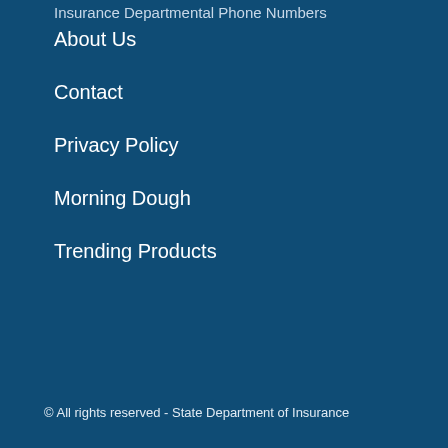Insurance Departmental Phone Numbers
About Us
Contact
Privacy Policy
Morning Dough
Trending Products
© All rights reserved - State Department of Insurance